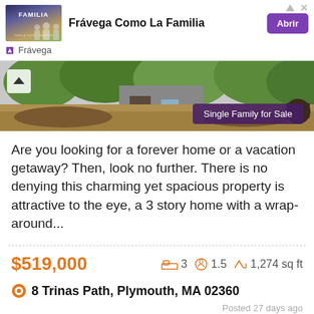[Figure (screenshot): Advertisement banner for Frávega Como La Familia with purple button labeled Abrir]
[Figure (photo): Property exterior photo showing landscaped yard with dry grass and plants, with a Single Family for Sale badge]
Are you looking for a forever home or a vacation getaway? Then, look no further. There is no denying this charming yet spacious property is attractive to the eye, a 3 story home with a wrap-around...
$519,000  3 beds  1.5 baths  1,274 sq ft
8 Trinas Path, Plymouth, MA 02360
Posted 27 days ago